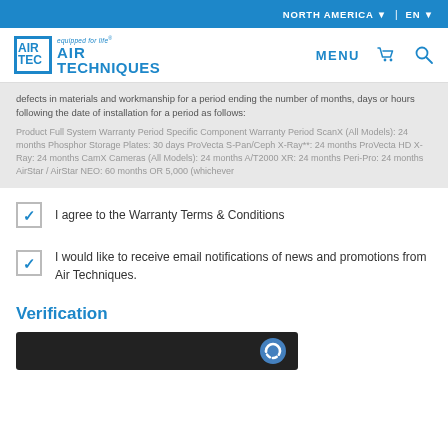NORTH AMERICA ▼  |  EN ▼
[Figure (logo): Air Techniques logo with tagline 'equipped for life' and navigation icons (MENU, cart, search)]
defects in materials and workmanship for a period ending the number of months, days or hours following the date of installation for a period as follows:
Product Full System Warranty Period Specific Component Warranty Period ScanX (All Models): 24 months Phosphor Storage Plates: 30 days ProVecta S-Pan/Ceph X-Ray**: 24 months ProVecta HD X-Ray: 24 months CamX Cameras (All Models): 24 months A/T2000 XR: 24 months Peri-Pro: 24 months AirStar / AirStar NEO: 60 months OR 5,000 (whichever
I agree to the Warranty Terms & Conditions
I would like to receive email notifications of news and promotions from Air Techniques.
Verification
[Figure (screenshot): reCAPTCHA widget on dark background]